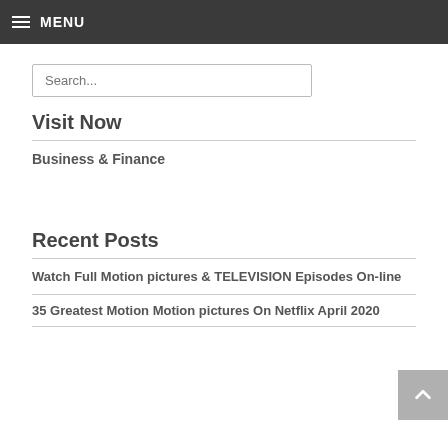≡ MENU
Search...
Visit Now
Business & Finance
Recent Posts
Watch Full Motion pictures & TELEVISION Episodes On-line
35 Greatest Motion Motion pictures On Netflix April 2020